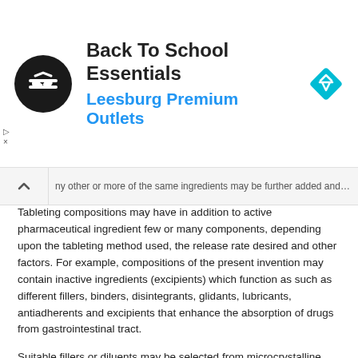[Figure (other): Advertisement banner: Back To School Essentials at Leesburg Premium Outlets with logos]
ny other or more of the same ingredients may be further added and dosage forms manufactured.
Tableting compositions may have in addition to active pharmaceutical ingredient few or many components, depending upon the tableting method used, the release rate desired and other factors. For example, compositions of the present invention may contain inactive ingredients (excipients) which function as such as different fillers, binders, disintegrants, glidants, lubricants, antiadherents and excipients that enhance the absorption of drugs from gastrointestinal tract.
Suitable fillers or diluents may be selected from microcrystalline cellulose, powdered cellulose, lactose, starch, pregelatinized starch, sucrose, glucose, mannitol, sorbitol, calcium phosphate, calcium hydrogen phosphate, aluminium silicate, sodium chloride, potassium chloride, calcium carbonate, calcium sulphate, dextrates, dextrin, maltodextrin, glycerol palmitostearate, hydrogenated vegetable oil, kaolin, magenesium carbonate, magnesium oxide, polymethacrylates, talc, and others. Preferred fillers are microcrystalline cellulose and lactose, most preferable (optionally